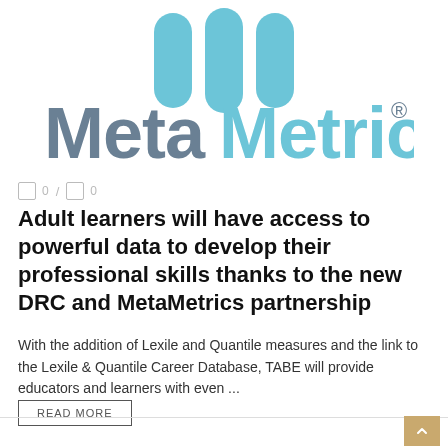[Figure (logo): MetaMetrics logo with three blue bar icon shapes above text reading MetaMetrics with registered trademark symbol]
0 / 0
Adult learners will have access to powerful data to develop their professional skills thanks to the new DRC and MetaMetrics partnership
With the addition of Lexile and Quantile measures and the link to the Lexile & Quantile Career Database, TABE will provide educators and learners with even ...